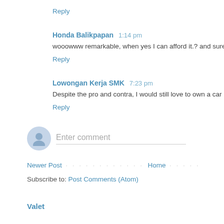Reply
Honda Balikpapan  1:14 pm
wooowww remarkable, when yes I can afford it.? and surely I mus
Reply
Lowongan Kerja SMK  7:23 pm
Despite the pro and contra, I would still love to own a car like that.
Reply
Enter comment
Newer Post
Home
Subscribe to: Post Comments (Atom)
Valet